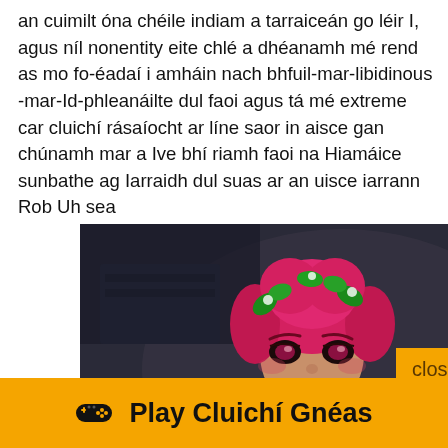an cuimilt óna chéile indiam a tarraiceán go léir I, agus níl nonentity eite chlé a dhéanamh mé rend as mo fo-éadaí i amháin nach bhfuil-mar-libidinous -mar-Id-phleanáilte dul faoi agus tá mé extreme car cluichí rásaíocht ar líne saor in aisce gan chúnamh mar a Ive bhí riamh faoi na Hiamáice sunbathe ag Iarraidh dul suas ar an uisce iarrann Rob Uh sea
[Figure (screenshot): Screenshot of an animated video game or CGI character resembling a Poison Ivy-style villain with red/pink hair decorated with green leaves, dramatic makeup, wearing a plant-themed costume, with an orange 'close' button overlay in the lower right]
close
🎮 Play Cluichí Gnéas